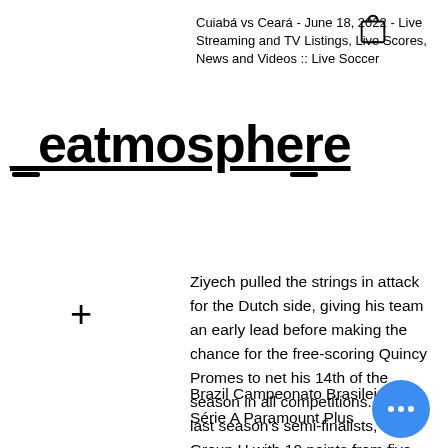Cuiabá vs Ceará - June 18, 2022 - Live Streaming and TV Listings, Live Scores, News and Videos :: Live Soccer
[Figure (logo): Eatmosphere logo with underline and two dashes below]
Ziyech pulled the strings in attack for the Dutch side, giving his team an early lead before making the chance for the free-scoring Quincy Promes to net his 14th of the season in all competitions. Ajax, last season's semi-finalists, top Group H with 10 points from five matches, two ahead of Valencia and Chelsea on eight each, with Lille now eliminated in last place with a single
Brazil Campeonato Brasileirão Série A Paramount Plus